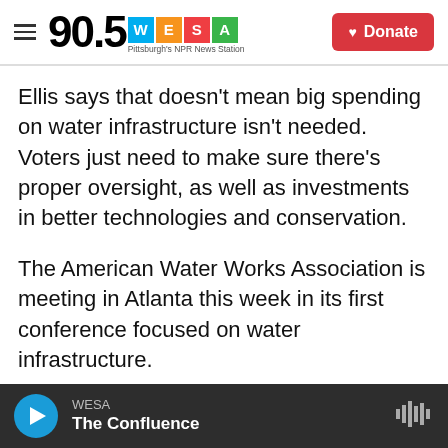90.5 WESA Pittsburgh's NPR News Station | Donate
Ellis says that doesn't mean big spending on water infrastructure isn't needed. Voters just need to make sure there's proper oversight, as well as investments in better technologies and conservation.
The American Water Works Association is meeting in Atlanta this week in its first conference focused on water infrastructure.
LaFrance says the first priority is to get water utilities to audit their systems and install and upgrade meters where needed. Then they can get
WESA | The Confluence